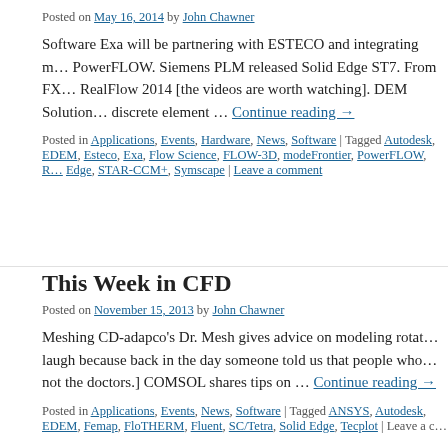Posted on May 16, 2014 by John Chawner
Software Exa will be partnering with ESTECO and integrating modeFrontier with PowerFLOW. Siemens PLM released Solid Edge ST7. From FX: RealFlow 2014 [the videos are worth watching]. DEM Solutions discrete element … Continue reading →
Posted in Applications, Events, Hardware, News, Software | Tagged Autodesk, EDEM, Esteco, Exa, Flow Science, FLOW-3D, modeFrontier, PowerFLOW, R... Edge, STAR-CCM+, Symscape | Leave a comment
This Week in CFD
Posted on November 15, 2013 by John Chawner
Meshing CD-adapco's Dr. Mesh gives advice on modeling rotat... laugh because back in the day someone told us that people who ... not the doctors.] COMSOL shares tips on … Continue reading →
Posted in Applications, Events, News, Software | Tagged ANSYS, Autodesk, EDEM, Femap, FloTHERM, Fluent, SC/Tetra, Solid Edge, Tecplot | Leave a c...